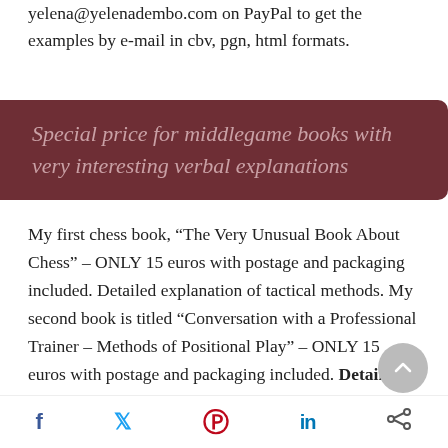yelena@yelenadembo.com on PayPal to get the examples by e-mail in cbv, pgn, html formats.
Special price for middlegame books with very interesting verbal explanations
My first chess book, “The Very Unusual Book About Chess” – ONLY 15 euros with postage and packaging included. Detailed explanation of tactical methods. My second book is titled “Conversation with a Professional Trainer – Methods of Positional Play” – ONLY 15 euros with postage and packaging included. Detailed explanation of positional ideas and methods!